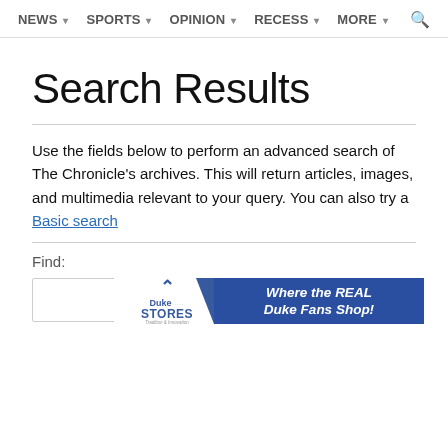NEWS ▾  SPORTS ▾  OPINION ▾  RECESS ▾  MORE ▾  🔍
Search Results
Use the fields below to perform an advanced search of The Chronicle's archives. This will return articles, images, and multimedia relevant to your query. You can also try a Basic search
Find:
[Figure (screenshot): Duke Stores advertisement banner: 'Where the REAL Duke Fans Shop!']